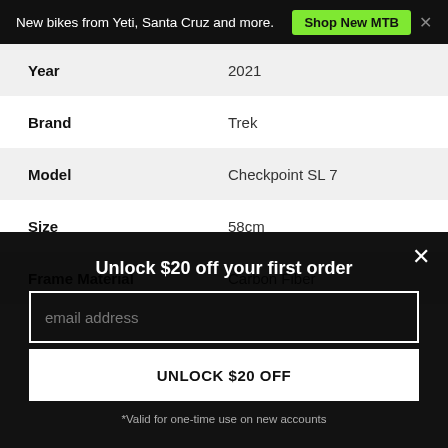New bikes from Yeti, Santa Cruz and more. Shop New MTB ×
| Attribute | Value |
| --- | --- |
| Year | 2021 |
| Brand | Trek |
| Model | Checkpoint SL 7 |
| Size | 58cm |
| Frame Material | Carbon Fiber |
Unlock $20 off your first order
email address
UNLOCK $20 OFF
*Valid for one-time use on new accounts